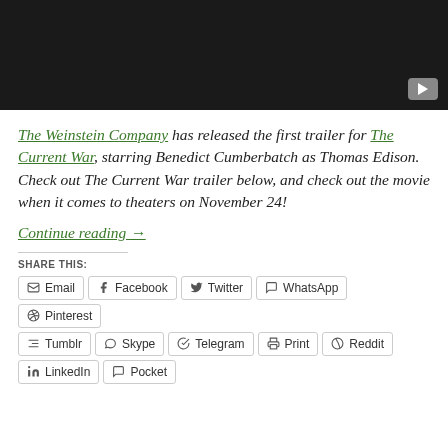[Figure (screenshot): Dark video player thumbnail with YouTube play button in bottom right corner]
The Weinstein Company has released the first trailer for The Current War, starring Benedict Cumberbatch as Thomas Edison. Check out The Current War trailer below, and check out the movie when it comes to theaters on November 24!
Continue reading →
SHARE THIS:
Email
Facebook
Twitter
WhatsApp
Pinterest
Tumblr
Skype
Telegram
Print
Reddit
LinkedIn
Pocket